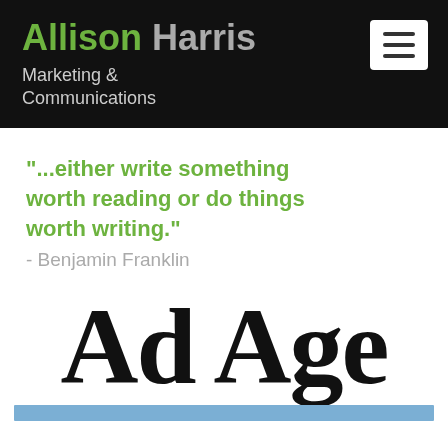Allison Harris — Marketing & Communications
"...either write something worth reading or do things worth writing." - Benjamin Franklin
[Figure (logo): Ad Age publication logo in large serif black bold text with a blue horizontal stripe beneath it]